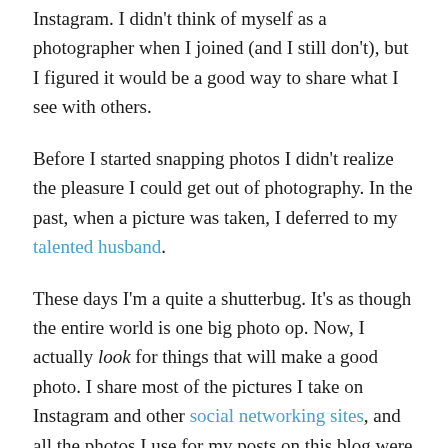Instagram. I didn't think of myself as a photographer when I joined (and I still don't), but I figured it would be a good way to share what I see with others.
Before I started snapping photos I didn't realize the pleasure I could get out of photography. In the past, when a picture was taken, I deferred to my talented husband.
These days I'm a quite a shutterbug. It's as though the entire world is one big photo op. Now, I actually look for things that will make a good photo. I share most of the pictures I take on Instagram and other social networking sites, and all the photos I use for my posts on this blog were taken using my iPod.
Taking pictures has become something I do to reflect,